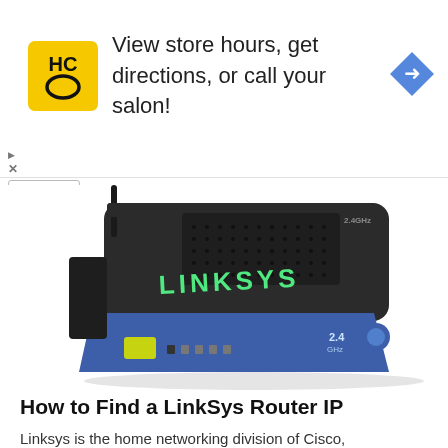[Figure (screenshot): Advertisement banner with yellow HC logo on left, text 'View store hours, get directions, or call your salon!' in center, blue navigation arrow icon on right. Ad marker triangle and X close button at bottom-left. White collapse chevron button below banner.]
[Figure (photo): Photo of a Linksys wireless router (blue and black) with brand name LINKSYS visible on top, 2.4GHz label, antenna on left side, ports on front.]
How to Find a LinkSys Router IP
Linksys is the home networking division of Cisco, Incorporated and has significant penetration in the ...
[Figure (photo): Photo of a folded black t-shirt with a white label visible at the collar area, partially cropped at bottom of page.]